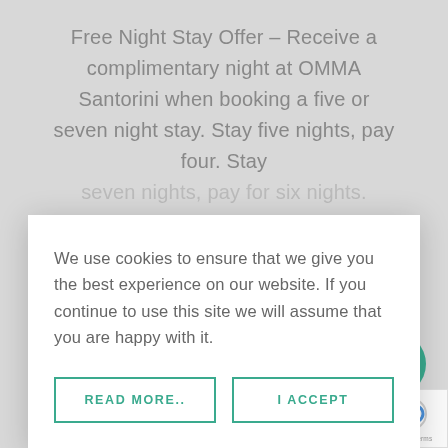Free Night Stay Offer – Receive a complimentary night at OMMA Santorini when booking a five or seven night stay. Stay five nights, pay four. Stay seven nights, pay for six nights.
We use cookies to ensure that we give you the best experience on our website. If you continue to use this site we will assume that you are happy with it.
READ MORE..
I ACCEPT
www.ommasantorini.com
[Figure (other): Green circular scroll-to-top button with upward arrow]
[Figure (other): Google reCAPTCHA badge with privacy and terms links]